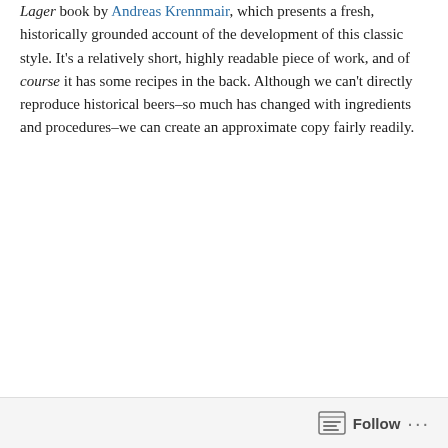Lager book by Andreas Krennmair, which presents a fresh, historically grounded account of the development of this classic style. It's a relatively short, highly readable piece of work, and of course it has some recipes in the back. Although we can't directly reproduce historical beers–so much has changed with ingredients and procedures–we can create an approximate copy fairly readily.
[Figure (photo): A glass of amber/golden lager beer with a white foam head, set against a background of green foliage.]
My recipe is pretty similar to that presented by Krennmair, although I made some modifications for ingredients and process. The original recipe (p. 144 in his
Follow